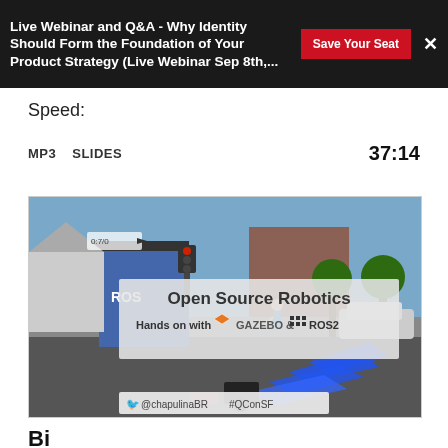Live Webinar and Q&A - Why Identity Should Form the Foundation of Your Product Strategy (Live Webinar Sep 8th,...
Speed:
MP3   SLIDES   37:14
[Figure (screenshot): Video thumbnail showing Open Source Robotics presentation slide: 'Open Source Robotics Hands on with GAZEBO & ROS2', with a 3D simulation scene and Twitter handle @chapulinaBR #QConSF at the bottom.]
Bi...